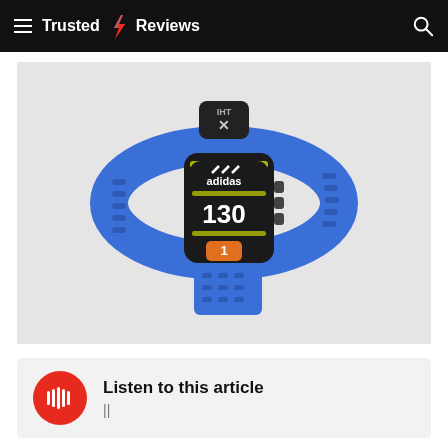Trusted Reviews
[Figure (photo): Adidas heart rate monitor fitness tracker wristband in blue with black module showing number 130 and orange button labeled 1, with IHT X branding on the clasp]
Listen to this article